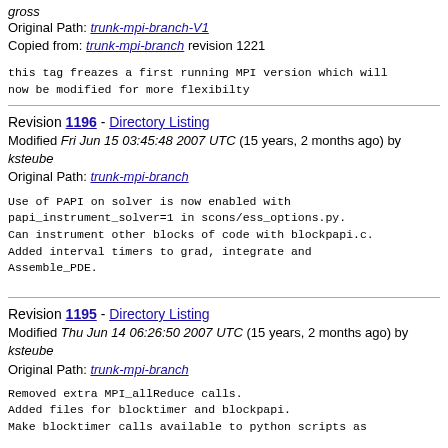gross
Original Path: trunk-mpi-branch-V1
Copied from: trunk-mpi-branch revision 1221
this tag freazes a first running MPI version which will now be modified for more flexibilty
Revision 1196 - Directory Listing
Modified Fri Jun 15 03:45:48 2007 UTC (15 years, 2 months ago) by ksteube
Original Path: trunk-mpi-branch
Use of PAPI on solver is now enabled with papi_instrument_solver=1 in scons/ess_options.py.
Can instrument other blocks of code with blockpapi.c.
Added interval timers to grad, integrate and Assemble_PDE.
Revision 1195 - Directory Listing
Modified Thu Jun 14 06:26:50 2007 UTC (15 years, 2 months ago) by ksteube
Original Path: trunk-mpi-branch
Removed extra MPI_allReduce calls.
Added files for blocktimer and blockpapi.
Make blocktimer calls available to python scripts as